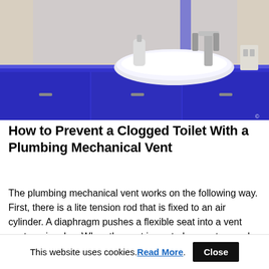[Figure (photo): Bathroom vanity with blue cabinet, white vessel sink, chrome faucet, and mirror in background]
How to Prevent a Clogged Toilet With a Plumbing Mechanical Vent
The plumbing mechanical vent works on the following way. First, there is a lite tension rod that is fixed to an air cylinder. A diaphragm pushes a flexible seat into a vent seat or air valve. When the seat is seated, no water can be allowed to enter the house. When the seat is released,
This website uses cookies. Read More . Close